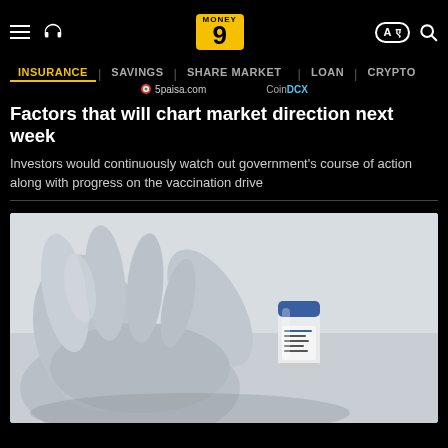Money9 – INSURANCE | SAVINGS | SHARE MARKET | LOAN | CRYPTO
Factors that will chart market direction next week
Investors would continuously watch out government's course of action along with progress on the vaccination drive
[Figure (photo): A gloved hand holding a small vaccine vial against a light grey background]